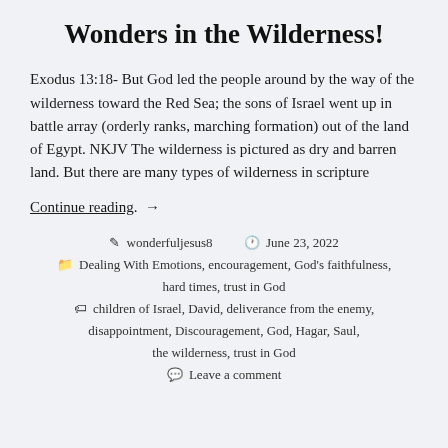Wonders in the Wilderness!
Exodus 13:18- But God led the people around by the way of the wilderness toward the Red Sea; the sons of Israel went up in battle array (orderly ranks, marching formation) out of the land of Egypt. NKJV The wilderness is pictured as dry and barren land. But there are many types of wilderness in scripture
Continue reading. →
wonderfuljesus8   June 23, 2022   Dealing With Emotions, encouragement, God's faithfulness, hard times, trust in God   children of Israel, David, deliverance from the enemy, disappointment, Discouragement, God, Hagar, Saul, the wilderness, trust in God   Leave a comment